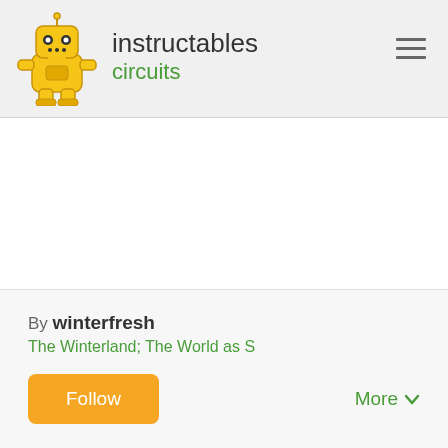instructables circuits
[Figure (illustration): Instructables yellow robot mascot illustration]
By winterfresh
The Winterland; The World as S
Follow
More